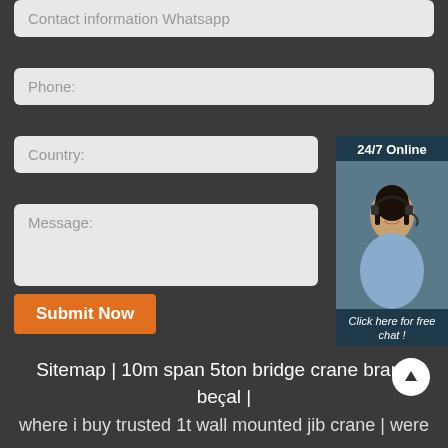Contact information Whatsapp
Phone:
Country:
Message:
[Figure (photo): 24/7 Online customer service representative with headset smiling, with 'Click here for free chat!' text and orange QUOTATION button]
Submit Now
Sitemap | 10m span 5ton bridge crane brand be€al | where i buy trusted 1t wall mounted jib crane | were